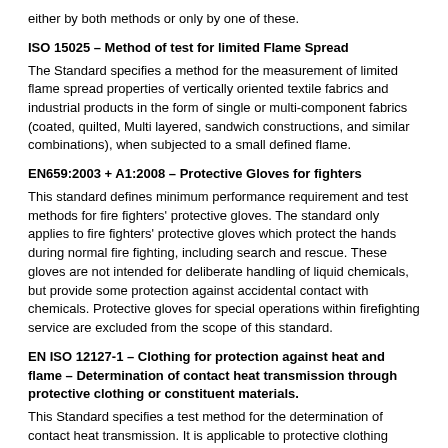either by both methods or only by one of these.
ISO 15025 – Method of test for limited Flame Spread
The Standard specifies a method for the measurement of limited flame spread properties of vertically oriented textile fabrics and industrial products in the form of single or multi-component fabrics (coated, quilted, Multi layered, sandwich constructions, and similar combinations), when subjected to a small defined flame.
EN659:2003 + A1:2008 – Protective Gloves for fighters
This standard defines minimum performance requirement and test methods for fire fighters' protective gloves. The standard only applies to fire fighters' protective gloves which protect the hands during normal fire fighting, including search and rescue. These gloves are not intended for deliberate handling of liquid chemicals, but provide some protection against accidental contact with chemicals. Protective gloves for special operations within firefighting service are excluded from the scope of this standard.
EN ISO 12127-1 – Clothing for protection against heat and flame – Determination of contact heat transmission through protective clothing or constituent materials.
This Standard specifies a test method for the determination of contact heat transmission. It is applicable to protective clothing (including hand protectors) and its constituent materials intended to protect against high contact temperatures.
EN 14360:2004 – Protective clothing against rain -Test Method for ready made garments -Impact from above with high energy droplets.